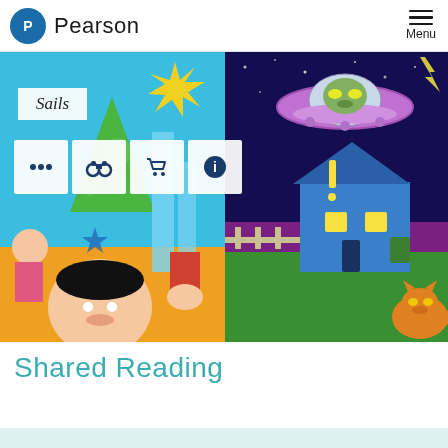Pearson — Menu
[Figure (illustration): Hero banner split into two halves: left half shows a colorful children's book scene with a smiling boy character, a girl, a green Christmas tree, and bright colors on a blue background. A white box with 'Sails' text overlays the top-left. Four icon buttons (ellipsis, binoculars, shopping cart, info) appear as white squares in the middle-left of the image. Right half shows a cartoon night scene with a flying saucer/UFO with an alien, a blue house, a fence, and an orange cat character against a purple/dark blue starry sky.]
Shared Reading